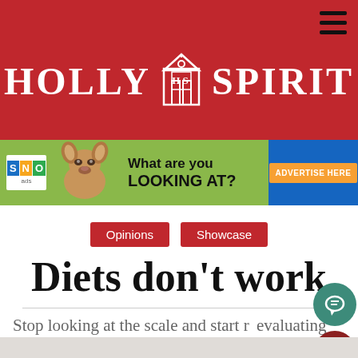HOLLY SPIRIT
[Figure (screenshot): SNO ads advertisement banner with chihuahua dog image, text 'What are you LOOKING AT?' and an orange 'ADVERTISE HERE' button on blue background]
Opinions
Showcase
Diets don't work
Stop looking at the scale and start re-evaluating your relationship with food